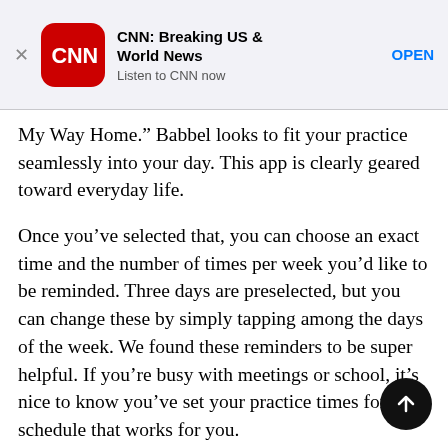[Figure (screenshot): CNN app advertisement banner with red CNN logo icon, app title 'CNN: Breaking US & World News', subtitle 'Listen to CNN now', and an OPEN button]
My Way Home.” Babbel looks to fit your practice seamlessly into your day. This app is clearly geared toward everyday life.
Once you’ve selected that, you can choose an exact time and the number of times per week you’d like to be reminded. Three days are preselected, but you can change these by simply tapping among the days of the week. We found these reminders to be super helpful. If you’re busy with meetings or school, it’s nice to know you’ve set your practice times for a schedule that works for you.
This app is extremely intuitive and user-friendly. You won’t get lost looking for information and returning